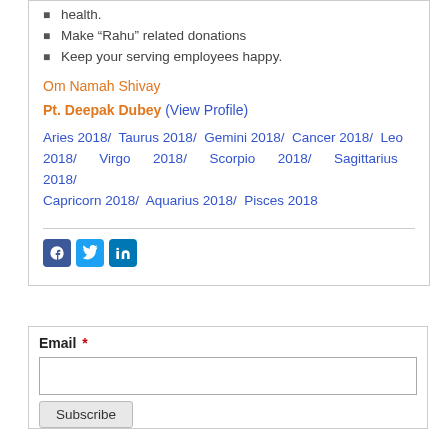health.
Make “Rahu” related donations
Keep your serving employees happy.
Om Namah Shivay
Pt. Deepak Dubey (View Profile)
Aries 2018/ Taurus 2018/ Gemini 2018/ Cancer 2018/ Leo 2018/ Virgo 2018/ Scorpio 2018/ Sagittarius 2018/ Capricorn 2018/ Aquarius 2018/ Pisces 2018
[Figure (other): Social media share icons: Facebook, Twitter, LinkedIn]
Email *
Subscribe